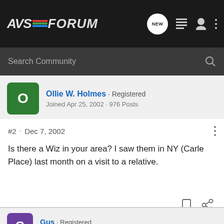[Figure (screenshot): AVSForum logo with colored bars and navigation icons (NEW bubble, list, user, dots) on dark nav bar]
Search Community
Ollie W. Holmes · Registered
Joined Apr 25, 2002 · 976 Posts
#2 · Dec 7, 2002
⁠Is there a Wiz in your area? I saw them in NY (Carle Place) last month on a visit to a relative.
Gus · Registered
Joined Nov 20, 2001 · 2,270 Posts